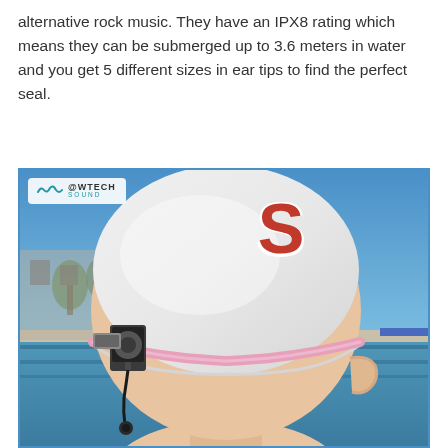alternative rock music. They have an IPX8 rating which means they can be submerged up to 3.6 meters in water and you get 5 different sizes in ear tips to find the perfect seal.
[Figure (photo): Back of a swimmer's head wearing a white Stanford swim cap with red 'S' logo and pink goggles. A small waterproof MP3 player is clipped to the goggles strap. An earbud cord hangs near the ear. Pool and blue sky visible in background. WowTech Sound logo watermark in top left corner.]